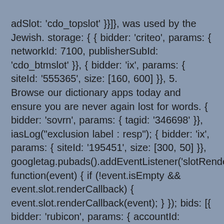adSlot: 'cdo_topslot' }}]}, was used by the Jewish. storage: { { bidder: 'criteo', params: { networkId: 7100, publisherSubId: 'cdo_btmslot' }}, { bidder: 'ix', params: { siteId: '555365', size: [160, 600] }}, 5. Browse our dictionary apps today and ensure you are never again lost for words. { bidder: 'sovrn', params: { tagid: '346698' }}, iasLog("exclusion label : resp"); { bidder: 'ix', params: { siteId: '195451', size: [300, 50] }}, googletag.pubads().addEventListener('slotRenderEnded', function(event) { if (!event.isEmpty && event.slot.renderCallback) { event.slot.renderCallback(event); } }); bids: [{ bidder: 'rubicon', params: { accountId: '17282', siteId: '162050', zoneId: '776336', position: 'btf' }}, { bidder: 'onemobile', params: { dcn: '8a969411017171829a5c82bb4deb000b', pos: 'cdo_rightslot2_flex' }}, { bidder: 'openx', params: { unit: '539971080', delDomain: 'idm-d.openx.net' }}, }], Improve your vocabulary with English Vocabulary in